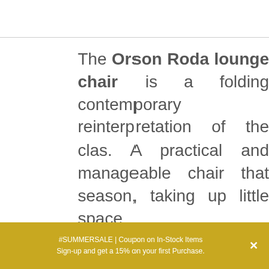The Orson Roda lounge chair is a folding contemporary reinterpretation of the clas. A practical and manageable chair that season, taking up little space.
The Lounge chair is the larger version o in Batyline structural fabric, which also variations and allows it to be used witho. The frame is made of solid teak, embelli its convenient closing system, allows it t
#SUMMERSALE | Coupon on In-Stock Items
Sign-up and get a 15% on your first Purchase.